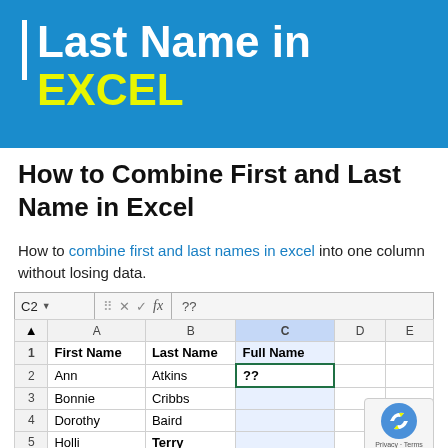[Figure (screenshot): Blue banner header with white vertical bar, white text 'Last Name in' and yellow text 'EXCEL']
How to Combine First and Last Name in Excel
How to combine first and last names in excel into one column without losing data.
[Figure (screenshot): Excel spreadsheet screenshot showing formula bar with C2 selected and '??' value, with columns A (First Name), B (Last Name), C (Full Name) and rows: 2 Ann Atkins ??, 3 Bonnie Cribbs, 4 Dorothy Baird, 5 Holli Terry]